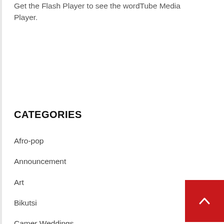Get the Flash Player to see the wordTube Media Player.
CATEGORIES
Afro-pop
Announcement
Art
Bikutsi
Camer Weddings